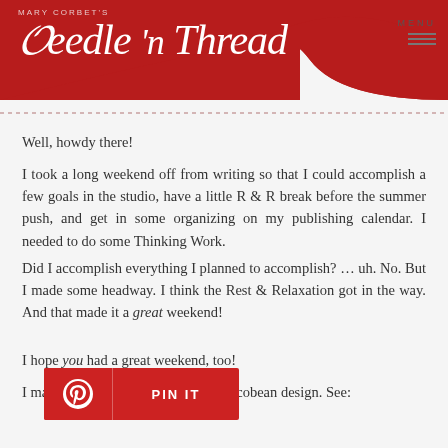Mary Corbet's Needle 'n Thread
Well, howdy there!
I took a long weekend off from writing so that I could accomplish a few goals in the studio, have a little R & R break before the summer push, and get in some organizing on my publishing calendar. I needed to do some Thinking Work.
Did I accomplish everything I planned to accomplish? … uh. No. But I made some headway. I think the Rest & Relaxation got in the way. And that made it a great weekend!
I hope you had a great weekend, too!
I managed a bit of progress on my Jacobean design. See:
[Figure (other): Pinterest PIN IT button in red]